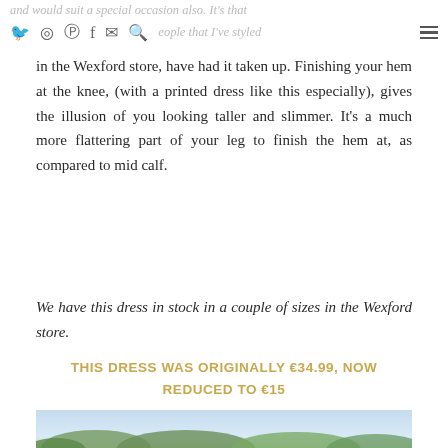and would suit a special occasion also. It's that many people that I've styled in the Wexford store, have had it taken up.
in the Wexford store, have had it taken up. Finishing your hem at the knee, (with a printed dress like this especially), gives the illusion of you looking taller and slimmer. It's a much more flattering part of your leg to finish the hem at, as compared to mid calf.
We have this dress in stock in a couple of sizes in the Wexford store.
THIS DRESS WAS ORIGINALLY €34.99, NOW REDUCED TO €15
[Figure (photo): Outdoor photo with light blue sky and green trees/foliage at the bottom, appearing to be a scenic landscape shot]